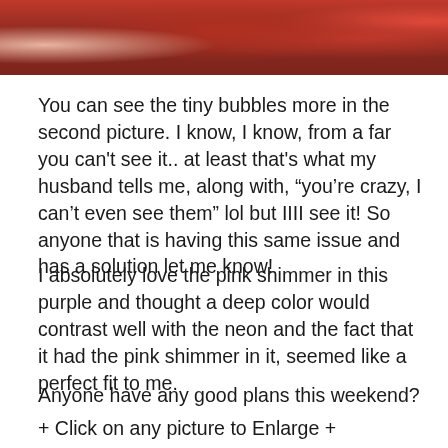[Figure (photo): Cropped photo showing close-up of nail polish colors including red/brown tones and a pink/neon color on the right edge]
You can see the tiny bubbles more in the second picture. I know, I know, from a far you can't see it.. at least that's what my husband tells me, along with, “you’re crazy, I can’t even see them” lol but IIII see it! So anyone that is having this same issue and has a solution let me know!
I absolutely love the pink shimmer in this purple and thought a deep color would contrast well with the neon and the fact that it had the pink shimmer in it, seemed like a perfect fit to me.
Anyone have any good plans this weekend?
+ Click on any picture to Enlarge +